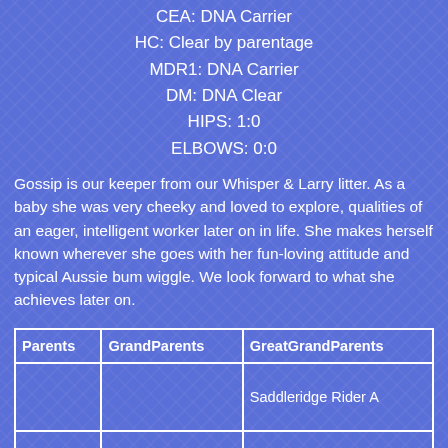CEA: DNA Carrier
HC: Clear by parentage
MDR1: DNA Carrier
DM: DNA Clear
HIPS: 1:0
ELBOWS: 0:0
Gossip is our keeper from our Whisper & Larry litter. As a baby she was very cheeky and loved to explore, qualities of an eager, intelligent worker later on in life. She makes herself known wherever she goes with her fun-loving attitude and typical Aussie bum wiggle. We look forward to what she achieves later on.
| Parents | GrandParents | GreatGrandParents |
| --- | --- | --- |
|  |  | Saddleridge Rider A |
|  | A... Ch. Cl... |  |